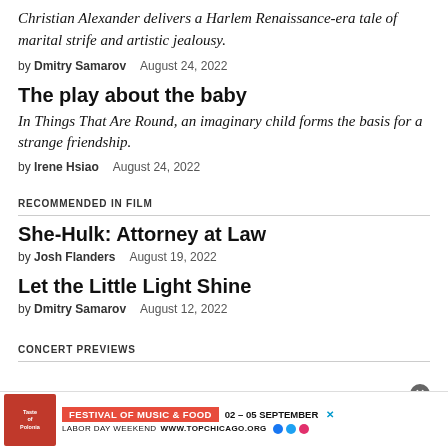Christian Alexander delivers a Harlem Renaissance-era tale of marital strife and artistic jealousy.
by Dmitry Samarov   August 24, 2022
The play about the baby
In Things That Are Round, an imaginary child forms the basis for a strange friendship.
by Irene Hsiao   August 24, 2022
RECOMMENDED IN FILM
She-Hulk: Attorney at Law
by Josh Flanders   August 19, 2022
Let the Little Light Shine
by Dmitry Samarov   August 12, 2022
CONCERT PREVIEWS
[Figure (infographic): Advertisement banner for Taste of Polonia Festival of Music & Food, 02-05 September, Labor Day Weekend, www.topchicago.org with social media icons]